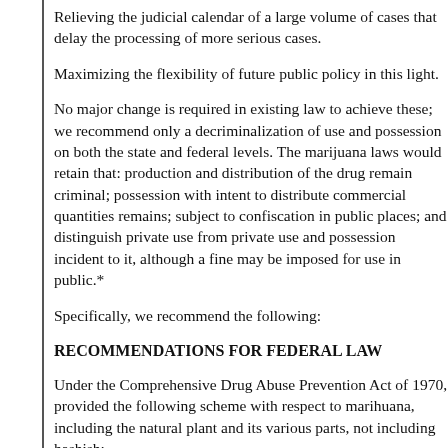Relieving the judicial calendar of a large volume of cases that delay the processing of more serious cases.
Maximizing the flexibility of future public policy in this light.
No major change is required in existing law to achieve these; we recommend only a decriminalization of use and possession on both the state and federal levels. The marijuana laws would retain that: production and distribution of the drug remain criminal; possession with intent to distribute commercial quantities remains; subject to confiscation in public places; and distinguish private use from private use and possession incident to it, although a fine may be imposed for use in public.*
Specifically, we recommend the following:
RECOMMENDATIONS FOR FEDERAL LAW
Under the Comprehensive Drug Abuse Prevention Act of 1970, provided the following scheme with respect to marihuana, including the natural plant and its various parts, not including hashish:
Cultivation, importation and exportation of marihuana are all felonies punishable...